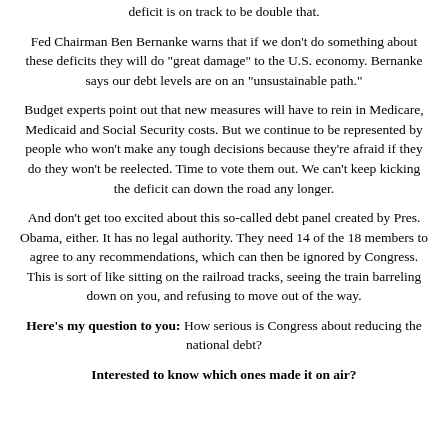deficit is on track to be double that.
Fed Chairman Ben Bernanke warns that if we don't do something about these deficits they will do "great damage" to the U.S. economy. Bernanke says our debt levels are on an "unsustainable path."
Budget experts point out that new measures will have to rein in Medicare, Medicaid and Social Security costs. But we continue to be represented by people who won't make any tough decisions because they're afraid if they do they won't be reelected. Time to vote them out. We can't keep kicking the deficit can down the road any longer.
And don't get too excited about this so-called debt panel created by Pres. Obama, either. It has no legal authority. They need 14 of the 18 members to agree to any recommendations, which can then be ignored by Congress. This is sort of like sitting on the railroad tracks, seeing the train barreling down on you, and refusing to move out of the way.
Here's my question to you: How serious is Congress about reducing the national debt?
Interested to know which ones made it on air?